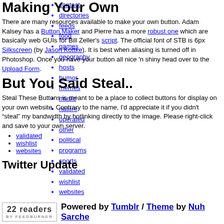Making Your Own
contact
directories
feeds
There are many resources available to make your own button. Adam Kalsey has a Button Maker and Pierre has a more robust one which are basically web GUIs for Bill Zeller's script. The official font of STB is 6px Silkscreen (by Jason Kottke). It is best when aliasing is turned off in Photoshop. Once you have your button all nice 'n shiny head over to the Upload Form.
food
games
geography
hosts
humor
memes
music
But You Said Steal..
nature
operated
other
Steal These Buttons is meant to be a place to collect buttons for display on your own website. Contrary to the name, I'd appreciate it if you didn't "steal" my bandwidth by hotlinking directly to the image. Please right-click and save to your own server.
political
programs
sports
validated
wishlist
websites
Twitter Update
22 readers BY FEEDBURNER
Powered by Tumblr / Theme by Nuh Sarche